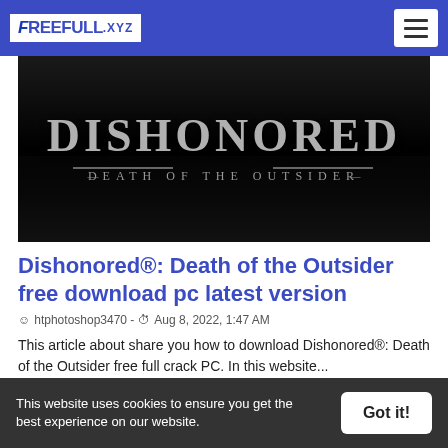FREEFULL.XYZ
[Figure (screenshot): Dishonored: Death of the Outsider game title screen with dark background, showing stylized metallic text 'DISHONORED' and subtitle '— DEATH OF THE OUTSIDER —']
Dishonored®: Death of the Outsider free download pc latest version
htphotoshop3470 - Aug 8, 2022, 1:47 AM
This article about share you how to download Dishonored®: Death of the Outsider free full crack PC. In this website...
Read More
This website uses cookies to ensure you get the best experience on our website.